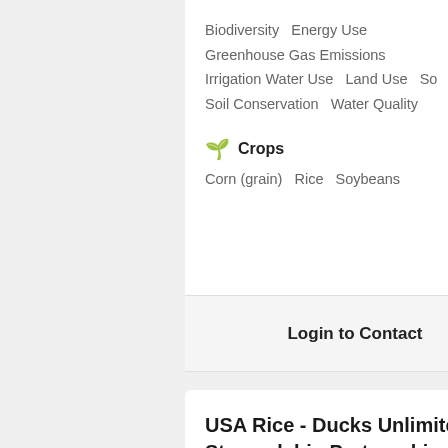Biodiversity   Energy Use   Greenhouse Gas Emissions   Irrigation Water Use   Land Use   So...   Soil Conservation   Water Quality
Crops
Corn (grain)   Rice   Soybeans
Login to Contact
USA Rice - Ducks Unlimited Rice Stewardship Partnership (National Project
Rice Stewardship's vision is to conserve the nation's important natural resources: ricelands, water and wetland wildlife.